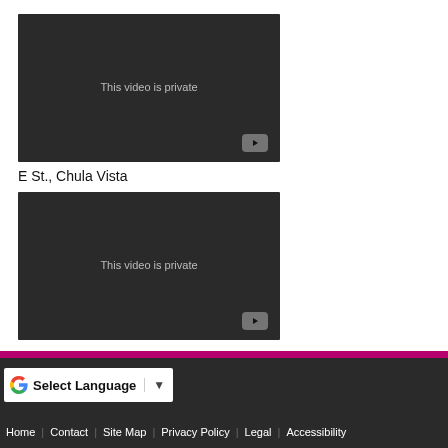[Figure (screenshot): YouTube embedded video placeholder showing 'This video is private' on dark background with YouTube play button]
E St., Chula Vista
[Figure (screenshot): YouTube embedded video placeholder showing 'This video is private' on dark background with YouTube play button]
Home | Contact | Site Map | Privacy Policy | Legal | Accessibility